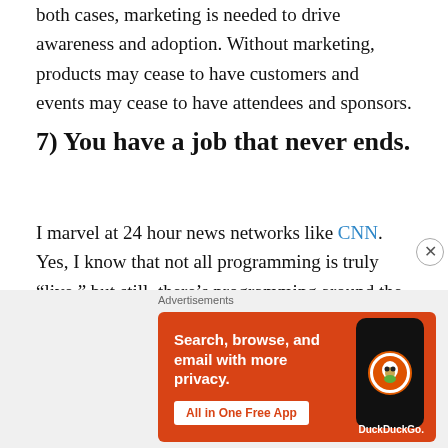both cases, marketing is needed to drive awareness and adoption. Without marketing, products may cease to have customers and events may cease to have attendees and sponsors.
7) You have a job that never ends.
I marvel at 24 hour news networks like CNN. Yes, I know that not all programming is truly “live,” but still, there’s programming around the clock. It’s similar for product managers and event managers: rarely is there downtime, because you’re always on to the next release
[Figure (other): DuckDuckGo advertisement banner: orange background with text 'Search, browse, and email with more privacy. All in One Free App' and a phone showing DuckDuckGo logo]